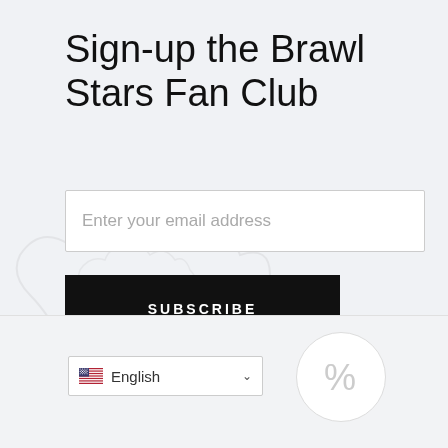Sign-up the Brawl Stars Fan Club
Enter your email address
SUBSCRIBE
English